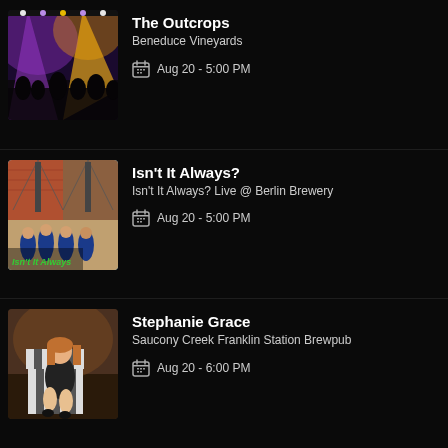[Figure (photo): Concert stage with colorful purple and yellow stage lighting, crowd silhouette visible in foreground]
The Outcrops
Beneduce Vineyards
Aug 20 - 5:00 PM
[Figure (photo): Album cover or promotional photo: group of men in blue blazers on a New York street with bridge in background, text overlay 'Isn't It Always']
Isn't It Always?
Isn't It Always? Live @ Berlin Brewery
Aug 20 - 5:00 PM
[Figure (photo): Young woman with long hair sitting on a striped chair in what appears to be a warmly lit interior setting]
Stephanie Grace
Saucony Creek Franklin Station Brewpub
Aug 20 - 6:00 PM